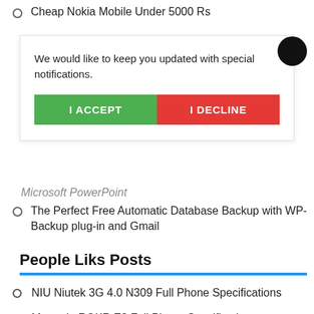Cheap Nokia Mobile Under 5000 Rs
We would like to keep you updated with special notifications.
I ACCEPT
I DECLINE
Microsoft PowerPoint
The Perfect Free Automatic Database Backup with WP-Backup plug-in and Gmail
People Liks Posts
NIU Niutek 3G 4.0 N309 Full Phone Specifications
Motorola ROKR E8 Full Phone Specifications
Philips 191 Full Phone Specifications